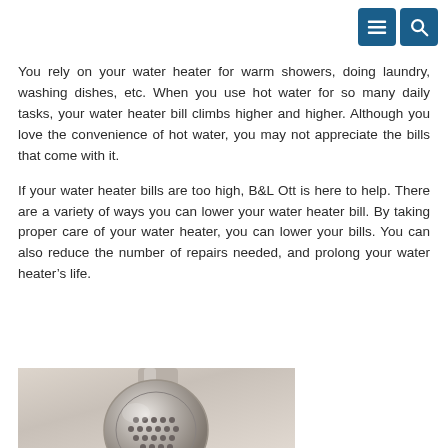[Menu icon] [Search icon]
You rely on your water heater for warm showers, doing laundry, washing dishes, etc. When you use hot water for so many daily tasks, your water heater bill climbs higher and higher. Although you love the convenience of hot water, you may not appreciate the bills that come with it.
If your water heater bills are too high, B&L Ott is here to help. There are a variety of ways you can lower your water heater bill. By taking proper care of your water heater, you can lower your bills. You can also reduce the number of repairs needed, and prolong your water heater's life.
[Figure (photo): Close-up photo of a chrome shower head with water droplets or holes visible on its face, against a beige/tan tiled background]